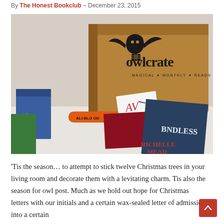By The Honest Bookclub - December 23, 2015
[Figure (photo): Photo of an OwlCrate subscription box (brown cardboard with owl logo and 'owlcrate MAGICAL MONTHLY READS' text) with book items and merchandise scattered in front including what appears to be a wristband, cards, and book covers including one by Richelle Mead.]
'Tis the season... to attempt to stick twelve Christmas trees in your living room and decorate them with a levitating charm. Tis also the season for owl post. Much as we hold out hope for Christmas letters with our initials and a certain wax-sealed letter of admission into a certain